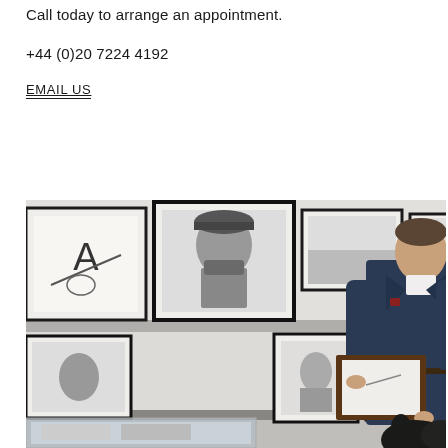Call today to arrange an appointment.
+44 (0)20 7224 4192
EMAIL US
[Figure (photo): A man in a dark navy suit standing in an art gallery or photography gallery, holding a framed photograph. Behind him are multiple black-and-white framed photographs arranged on white walls including a portrait of Che Guevara. In the foreground are display cases with prints. A dark animal (possibly a bear) is partially visible at the bottom right.]